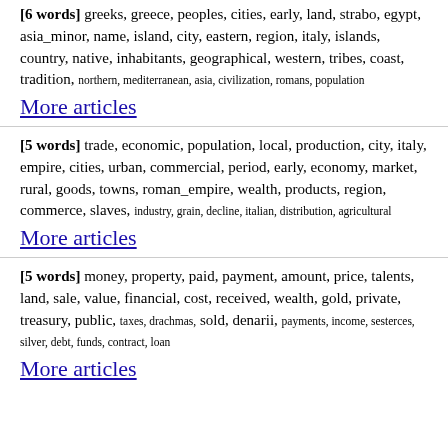[6 words] greeks, greece, peoples, cities, early, land, strabo, egypt, asia_minor, name, island, city, eastern, region, italy, islands, country, native, inhabitants, geographical, western, tribes, coast, tradition, northern, mediterranean, asia, civilization, romans, population
More articles
[5 words] trade, economic, population, local, production, city, italy, empire, cities, urban, commercial, period, early, economy, market, rural, goods, towns, roman_empire, wealth, products, region, commerce, slaves, industry, grain, decline, italian, distribution, agricultural
More articles
[5 words] money, property, paid, payment, amount, price, talents, land, sale, value, financial, cost, received, wealth, gold, private, treasury, public, taxes, drachmas, sold, denarii, payments, income, sesterces, silver, debt, funds, contract, loan
More articles